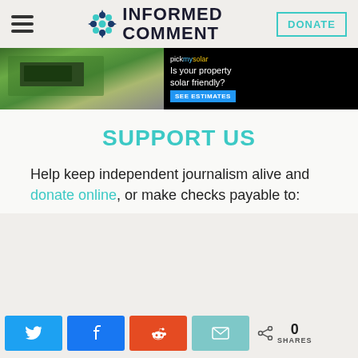INFORMED COMMENT
[Figure (screenshot): pickmysolar advertisement banner: aerial photo of house with solar panels, text 'pickmysolar Is your property solar friendly? SEE ESTIMATES']
SUPPORT US
Help keep independent journalism alive and donate online, or make checks payable to:
Social share buttons: Twitter, Facebook, Reddit, Email. 0 SHARES